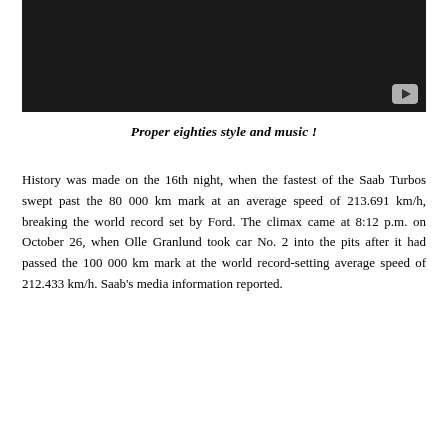[Figure (screenshot): Black video player thumbnail with a grey YouTube-style play button in the bottom-right corner]
Proper eighties style and music !
History was made on the 16th night, when the fastest of the Saab Turbos swept past the 80 000 km mark at an average speed of 213.691 km/h, breaking the world record set by Ford. The climax came at 8:12 p.m. on October 26, when Olle Granlund took car No. 2 into the pits after it had passed the 100 000 km mark at the world record-setting average speed of 212.433 km/h. Saab's media information reported.